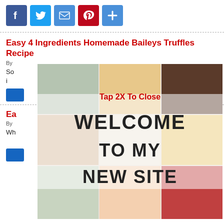[Figure (other): Social sharing icons row: Facebook (blue), Twitter (light blue), Email (blue envelope), Pinterest (red), Share/Plus (blue)]
Easy 4 Ingredients Homemade Baileys Truffles Recipe
By
So... irresistible. These 4 i... ct [...]
[Figure (photo): Welcome To My New Site overlay image collage of food photos with WELCOME TO MY NEW SITE text, with Tap 2X To Close label]
Ea... n Recipe
By
Wh... eet cream cheese an... e Danish [...]